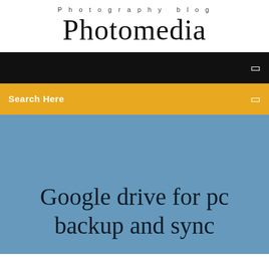Photography blog
Photomedia
[Figure (screenshot): Black navigation bar with a small square icon on the right]
[Figure (screenshot): Yellow/orange search bar with 'Search Here' text on left and a small icon on the right]
Google drive for pc backup and sync